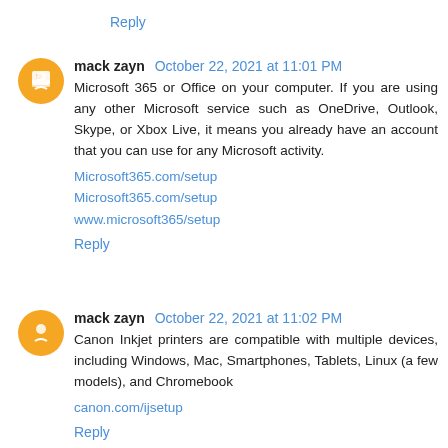Reply
mack zayn October 22, 2021 at 11:01 PM
Microsoft 365 or Office on your computer. If you are using any other Microsoft service such as OneDrive, Outlook, Skype, or Xbox Live, it means you already have an account that you can use for any Microsoft activity.
Microsoft365.com/setup
Microsoft365.com/setup
www.microsoft365/setup
Reply
mack zayn October 22, 2021 at 11:02 PM
Canon Inkjet printers are compatible with multiple devices, including Windows, Mac, Smartphones, Tablets, Linux (a few models), and Chromebook
canon.com/ijsetup
Reply